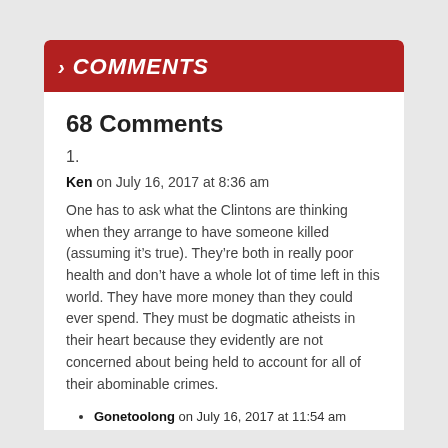> COMMENTS
68 Comments
1.
Ken on July 16, 2017 at 8:36 am
One has to ask what the Clintons are thinking when they arrange to have someone killed (assuming it’s true). They’re both in really poor health and don’t have a whole lot of time left in this world. They have more money than they could ever spend. They must be dogmatic atheists in their heart because they evidently are not concerned about being held to account for all of their abominable crimes.
Gonetoolong on July 16, 2017 at 11:54 am